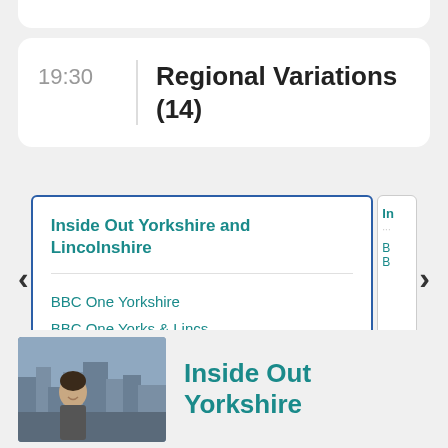19:30
Regional Variations (14)
Inside Out Yorkshire and Lincolnshire
BBC One Yorkshire
BBC One Yorks & Lincs
[Figure (photo): Photo of a woman smiling, with a city skyline in background]
Inside Out Yorkshire